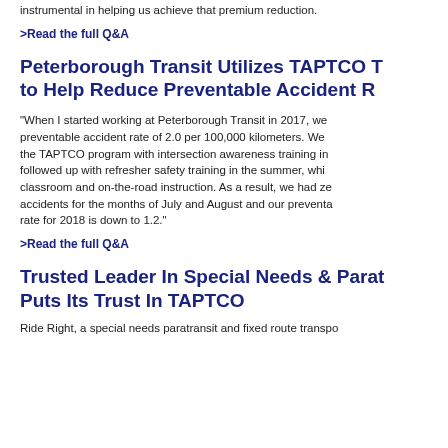instrumental in helping us achieve that premium reduction.
>Read the full Q&A
Peterborough Transit Utilizes TAPTCO to Help Reduce Preventable Accident R
"When I started working at Peterborough Transit in 2017, we had a preventable accident rate of 2.0 per 100,000 kilometers. We began the TAPTCO program with intersection awareness training in and followed up with refresher safety training in the summer, which classroom and on-the-road instruction. As a result, we had zero accidents for the months of July and August and our preventable rate for 2018 is down to 1.2."
>Read the full Q&A
Trusted Leader In Special Needs & Paratransit Puts Its Trust In TAPTCO
Ride Right, a special needs paratransit and fixed route transpo